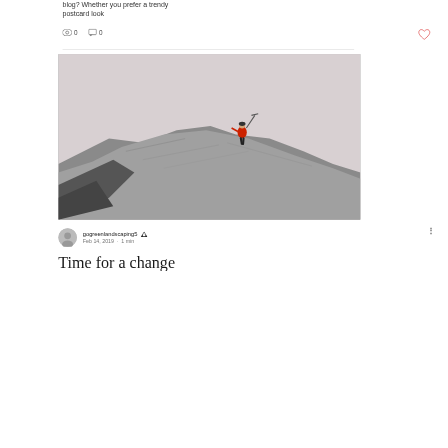blog? Whether you prefer a trendy postcard look
0  0
[Figure (photo): A mountain climber in a red jacket scaling a steep rocky glacier face, holding an ice axe, against a grey sky background.]
gogreenlandscaping5  Feb 14, 2019 · 1 min
Time for a change